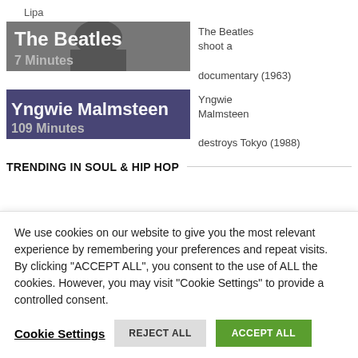Lipa
[Figure (screenshot): The Beatles thumbnail image with text 'The Beatles 7 Minutes']
The Beatles shoot a documentary (1963)
[Figure (screenshot): Yngwie Malmsteen thumbnail image with text 'Yngwie Malmsteen 109 Minutes']
Yngwie Malmsteen destroys Tokyo (1988)
TRENDING IN SOUL & HIP HOP
We use cookies on our website to give you the most relevant experience by remembering your preferences and repeat visits. By clicking "ACCEPT ALL", you consent to the use of ALL the cookies. However, you may visit "Cookie Settings" to provide a controlled consent.
Cookie Settings | REJECT ALL | ACCEPT ALL